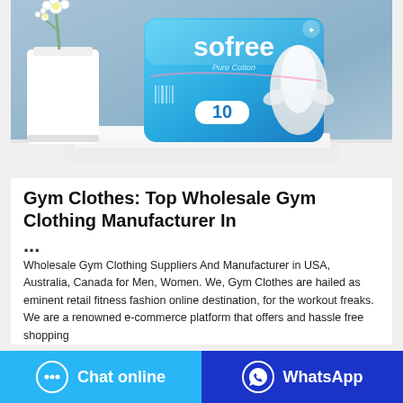[Figure (photo): Product photo of 'Sofree Pure Cotton' sanitary pad package (blue packaging with white sanitary pad visible), placed on a white folded cloth surface, with a white vase holding a small white flower in the background, against a blue-grey background.]
Gym Clothes: Top Wholesale Gym Clothing Manufacturer In ...
Wholesale Gym Clothing Suppliers And Manufacturer in USA, Australia, Canada for Men, Women. We, Gym Clothes are hailed as eminent retail fitness fashion online destination, for the workout freaks. We are a renowned e-commerce platform that offers and hassle free shopping